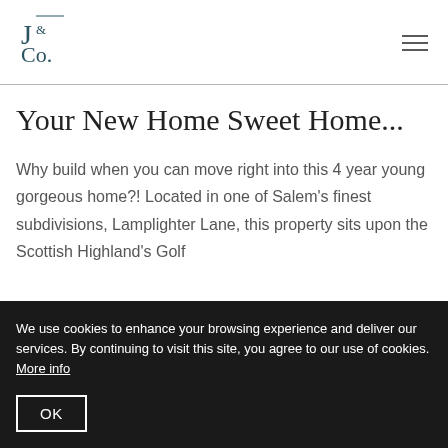[Figure (logo): J&Co logo in dark teal serif lettering]
Your New Home Sweet Home...
Why build when you can move right into this 4 year young gorgeous home?! Located in one of Salem's finest subdivisions, Lamplighter Lane, this property sits upon the Scottish Highland's Golf
We use cookies to enhance your browsing experience and deliver our services. By continuing to visit this site, you agree to our use of cookies. More info
OK